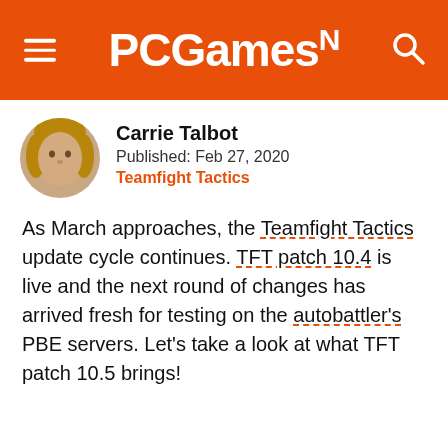PCGamesN
Carrie Talbot
Published: Feb 27, 2020
Teamfight Tactics
As March approaches, the Teamfight Tactics update cycle continues. TFT patch 10.4 is live and the next round of changes has arrived fresh for testing on the autobattler's PBE servers. Let's take a look at what TFT patch 10.5 brings!